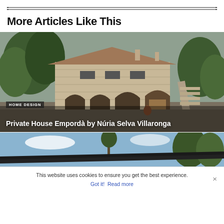More Articles Like This
[Figure (photo): Exterior photo of a stone house with arched openings, trees, and a staircase — Private House Empordà]
HOME DESIGN
Private House Empordà by Núria Selva Villaronga
[Figure (photo): Partial view of another house with a flat dark roof, trees, and blue sky]
This website uses cookies to ensure you get the best experience.
Got it!  Read more